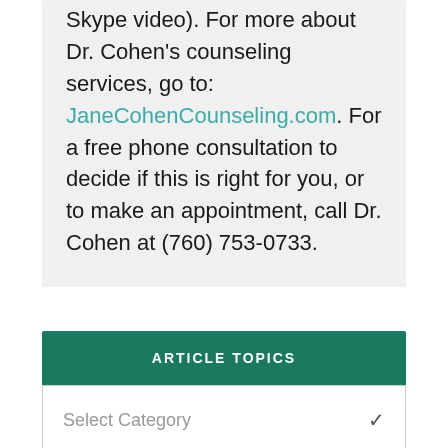Skype video). For more about Dr. Cohen's counseling services, go to: JaneCohenCounseling.com. For a free phone consultation to decide if this is right for you, or to make an appointment, call Dr. Cohen at (760) 753-0733.
ARTICLE TOPICS
Select Category
NEED HELP WITH YOUR WEBSITE?